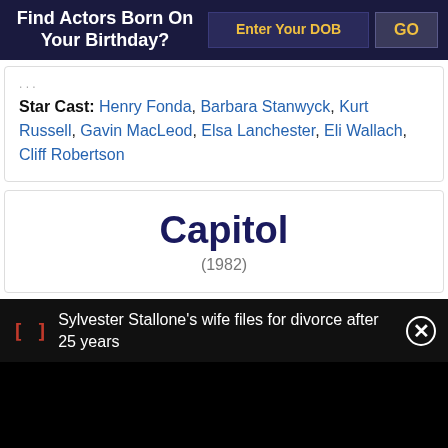Find Actors Born On Your Birthday?
Star Cast: Henry Fonda, Barbara Stanwyck, Kurt Russell, Gavin MacLeod, Elsa Lanchester, Eli Wallach, Cliff Robertson
Capitol
(1982)
Sylvester Stallone's wife files for divorce after 25 years